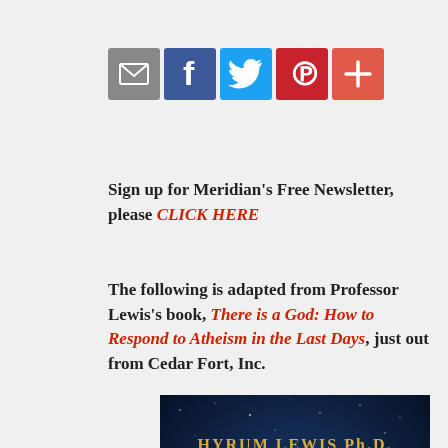[Figure (infographic): Social sharing icons: email (grey), Facebook (blue), Twitter (light blue), Pinterest (red), plus/more (orange-red)]
Sign up for Meridian's Free Newsletter, please CLICK HERE
The following is adapted from Professor Lewis's book, There is a God: How to Respond to Atheism in the Last Days, just out from Cedar Fort, Inc.
[Figure (photo): Book cover showing 'HYRUM LEWIS Ph.D.' at top in gold serif font and 'THERE IS' in large white letters on a dark blue starfield background]